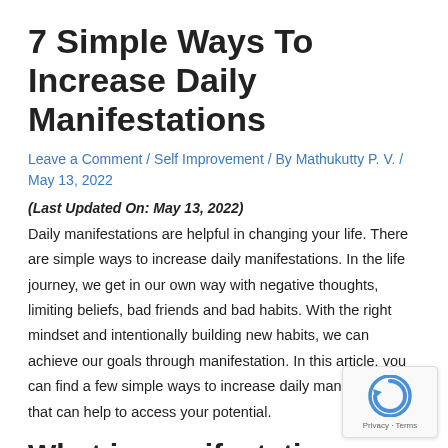7 Simple Ways To Increase Daily Manifestations
Leave a Comment / Self Improvement / By Mathukutty P. V. / May 13, 2022
(Last Updated On: May 13, 2022)
Daily manifestations are helpful in changing your life. There are simple ways to increase daily manifestations. In the life journey, we get in our own way with negative thoughts, limiting beliefs, bad friends and bad habits. With the right mindset and intentionally building new habits, we can achieve our goals through manifestation. In this article, you can find a few simple ways to increase daily manifestations that can help to access your potential.
What is manifestation exactly?